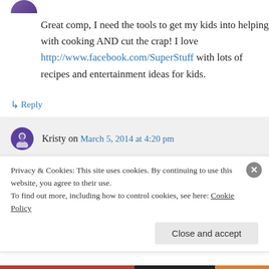[Figure (illustration): Partial purple circular avatar icon at top of page]
Great comp, I need the tools to get my kids into helping with cooking AND cut the crap! I love http://www.facebook.com/SuperStuff with lots of recipes and entertainment ideas for kids.
↳ Reply
Kristy on March 5, 2014 at 4:20 pm
Sorry for some reason the link I posted
Privacy & Cookies: This site uses cookies. By continuing to use this website, you agree to their use.
To find out more, including how to control cookies, see here: Cookie Policy
Close and accept